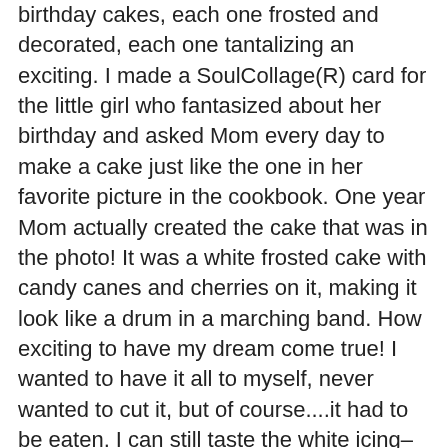birthday cakes, each one frosted and decorated, each one tantalizing an exciting.  I made a SoulCollage(R) card for the little girl who fantasized about her birthday and asked Mom every day to make a cake just like the one in her favorite picture in the cookbook.  One year Mom actually created the cake that was in the photo!  It was a white frosted cake with candy canes and cherries on it, making it look like a drum in a marching band.  How exciting to have my dream come true! I wanted to have it all to myself, never wanted to cut it, but of course....it had to be eaten.  I can still taste the white icing–and the maraschino cherries.  I can still feel the soft cake crumbs on my fingers.  I feel the special feeling of being a kid who has been celebrated. ....Could I eat that cake today with complete abandon as I did when I was five? Could I enjoy every bite, and savor the special moment? Maybe, if I could eat like my five year old, without the anxiety that goes with enjoying something sweet,  I could enjoy my food instead of fearing it, and then craving the satisfaction that I